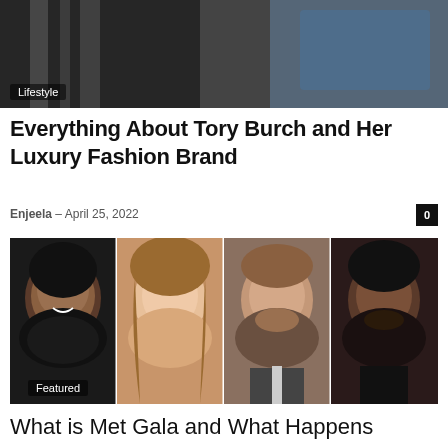[Figure (photo): Top banner photo with black and white striped fashion, Lifestyle tag overlay]
Lifestyle
Everything About Tory Burch and Her Luxury Fashion Brand
Enjeela – April 25, 2022
[Figure (photo): Four celebrity headshots side by side: Regina King, Blake Lively, Ryan Reynolds, Lin-Manuel Miranda. Featured tag overlay.]
Featured
What is Met Gala and What Happens